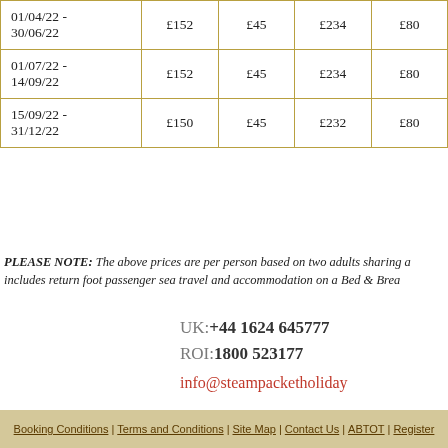| 01/04/22 - 30/06/22 | £152 | £45 | £234 | £80 |
| 01/07/22 - 14/09/22 | £152 | £45 | £234 | £80 |
| 15/09/22 - 31/12/22 | £150 | £45 | £232 | £80 |
PLEASE NOTE: The above prices are per person based on two adults sharing a room and includes return foot passenger sea travel and accommodation on a Bed & Breakfast basis.
UK:+44 1624 645777
ROI:1800 523177
info@steampacketholidays.com
Booking Conditions | Terms and Conditions | Site Map | Contact Us | ABTOT | Register